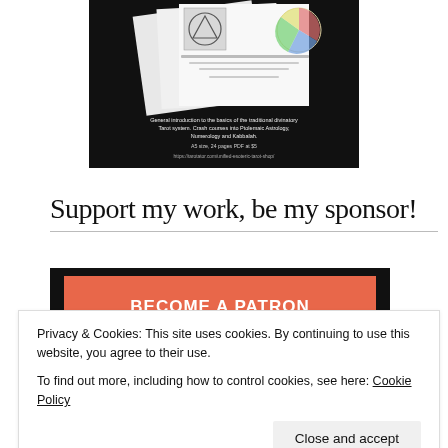[Figure (screenshot): A book/PDF product image showing a tarot/esoteric document with text about 'General introduction to the basics of the traditional divinatory Tarot system. Crash courses into Ptolemaic Astrology, Numerology and Kabbalah. A5 size, 24 pages PDF at $5. https://tarotator.com/unified-esoteric-tarot-shop/']
Support my work, be my sponsor!
[Figure (screenshot): Black background banner with a coral/salmon colored button labeled 'BECOME A PATRON']
Privacy & Cookies: This site uses cookies. By continuing to use this website, you agree to their use.
To find out more, including how to control cookies, see here: Cookie Policy
Close and accept